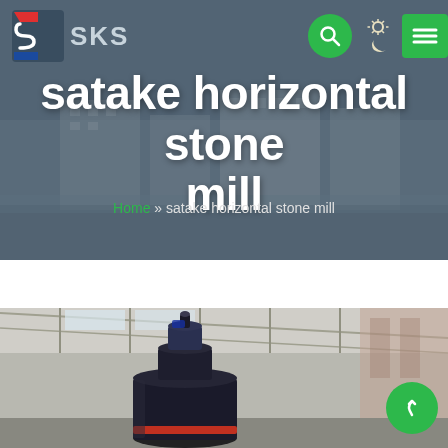SKS
satake horizontal stone mill
Home » satake horizontal stone mill
[Figure (photo): Industrial stone mill machine photographed indoors in a large warehouse/factory building with steel structure roof and daylight coming through. The mill is a large cylindrical vertical vessel painted dark blue/black with a red band, with a motor/gearbox on top.]